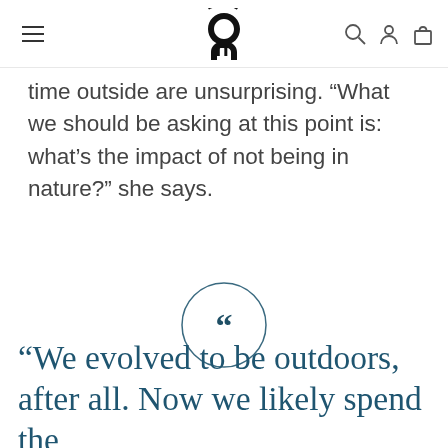On (logo)
time outside are unsurprising. “What we should be asking at this point is: what’s the impact of not being in nature?” she says.
[Figure (illustration): A circular outlined icon containing large open quotation marks (“), styled in dark teal/navy, centered on page]
“We evolved to be outdoors, after all. Now we likely spend the